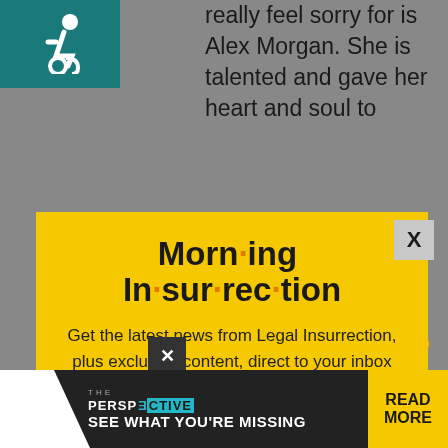[Figure (screenshot): Screenshot of a webpage with a modal popup overlay. Background shows teal accessibility icon top-left and article text about Alex Morgan. Modal is yellow with Morning Insurrection newsletter signup. Bottom has ad banner for The Perspective.]
really feel sorry for is Alex Morgan. She is talented and gave her heart and soul to
Morn·ing In·sur·rec·tion
Get the latest news from Legal Insurrection, plus exclusive content, direct to your inbox every morning. Subscribe today – it's free!
JOIN NOW
but she should have stood up for herself when she had the chance.
SEE WHAT YOU'RE MISSING
READ MORE